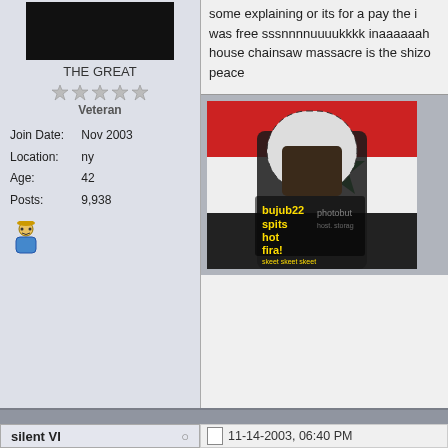[Figure (photo): Dark avatar image of user THE GREAT]
THE GREAT
[Figure (other): Five grey star rating icons]
Veteran
Join Date: Nov 2003
Location: ny
Age: 42
Posts: 9,938
[Figure (illustration): Small user/person icon]
some explaining or its for a pay the i was free sssnnnnuuuukkkk inaaaaaah house chainsaw massacre is the shizo peace
[Figure (photo): Photo of a person in a keffiyeh headscarf holding a dark object, with a flag in the background. Text overlay reads: bujub22 spits hot fira! and other text. Photobucket watermark visible.]
silent VI  ○  11-14-2003, 06:40 PM
the movie had a lot of faults but i enjoye